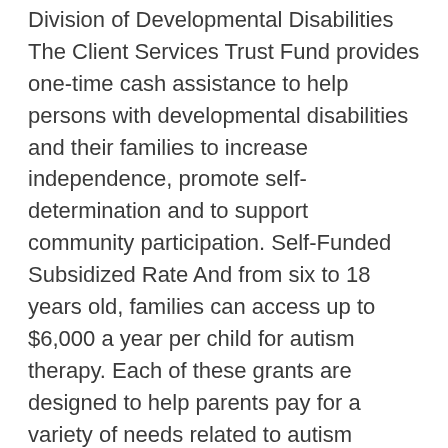Division of Developmental Disabilities The Client Services Trust Fund provides one-time cash assistance to help persons with developmental disabilities and their families to increase independence, promote self-determination and to support community participation. Self-Funded Subsidized Rate And from six to 18 years old, families can access up to $6,000 a year per child for autism therapy. Each of these grants are designed to help parents pay for a variety of needs related to autism treatment and care. Regional autism grants are a fantastic opportunity to apply against a smaller applicant pool and appeal to Grantors who are in touch with your community's needs. Monarch house provides ABA services for families who are eligible through the OAP program in Ontario. Grants of up to $5,000 to USA and Canada libraries for services, projects, and programs that benefit people with autism of all ages or their families. Family Services Special Targeted Initiatives Grants. Autism Family Resources Grants. The important point to note is